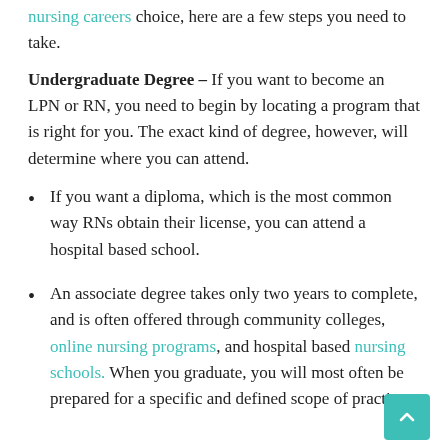nursing careers choice, here are a few steps you need to take.
Undergraduate Degree – If you want to become an LPN or RN, you need to begin by locating a program that is right for you. The exact kind of degree, however, will determine where you can attend.
If you want a diploma, which is the most common way RNs obtain their license, you can attend a hospital based school.
An associate degree takes only two years to complete, and is often offered through community colleges, online nursing programs, and hospital based nursing schools. When you graduate, you will most often be prepared for a specific and defined scope of practice.